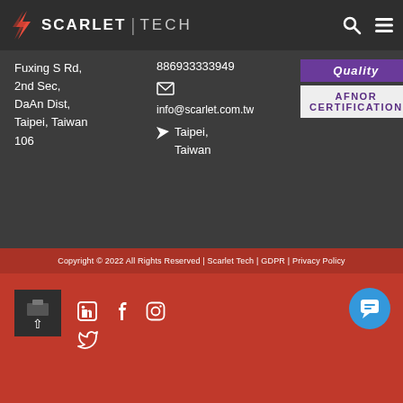SCARLET | TECH
Fuxing S Rd, 2nd Sec, DaAn Dist, Taipei, Taiwan 106
886933333949
info@scarlet.com.tw
Taipei, Taiwan
[Figure (logo): Quality AFNOR Certification badge]
Copyright © 2022 All Rights Reserved | Scarlet Tech | GDPR | Privacy Policy